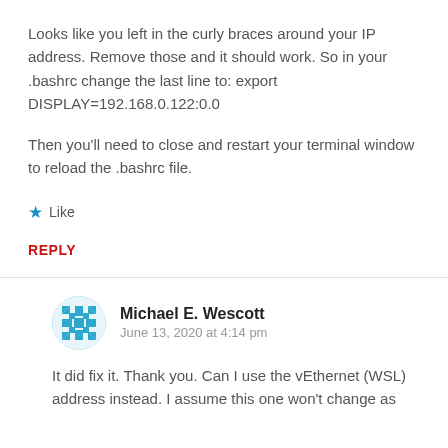Looks like you left in the curly braces around your IP address. Remove those and it should work. So in your .bashrc change the last line to: export DISPLAY=192.168.0.122:0.0
Then you’ll need to close and restart your terminal window to reload the .bashrc file.
★ Like
REPLY
Michael E. Wescott
June 13, 2020 at 4:14 pm
It did fix it. Thank you. Can I use the vEthernet (WSL) address instead. I assume this one won’t change as